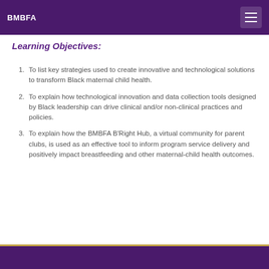BMBFA
Learning Objectives:
To list key strategies used to create innovative and technological solutions to transform Black maternal child health.
To explain how technological innovation and data collection tools designed by Black leadership can drive clinical and/or non-clinical practices and policies.
To explain how the BMBFA B'Right Hub, a virtual community for parent clubs, is used as an effective tool to inform program service delivery and positively impact breastfeeding and other maternal-child health outcomes.